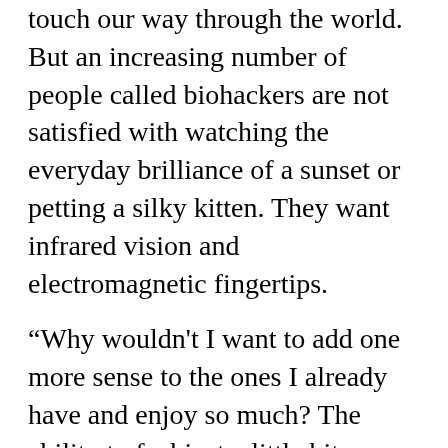touch our way through the world. But an increasing number of people called biohackers are not satisfied with watching the everyday brilliance of a sunset or petting a silky kitten. They want infrared vision and electromagnetic fingertips.
“Why wouldn't I want to add one more sense to the ones I already have and enjoy so much? The ability to feel just a little bit more?” Nic Fox asked reporter Catherine Girardeau. Fox has a device embedded in his chest that vibrates when he faces magnetic north.
To make sure b are about these would b